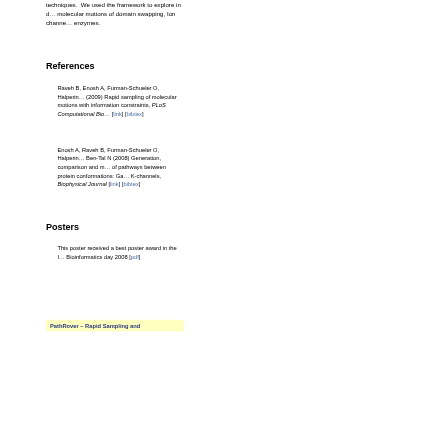techniques. We used the framework to explore in d... molecular motions of domain swapping, Ion channe... enzymes.
References
Raveh B, Enosh A, Furman-Schueler O, Halperin... (2009) Rapid sampling of molecular motions with information constraints, PLoS Computational Bio... [link] [bibtex]
Enosh A, Raveh B, Furman-Schueler O, Halperin... Ben-Tal N (2008) Generation, comparison and m... of pathways between protein conformations: Ga... K-channels, Biophysical Journal [link] [bibtex]
Posters
This poster received a best poster award in the I... Bioinformatics day 2008 [pdf]
PathRover – Rapid Sampling and